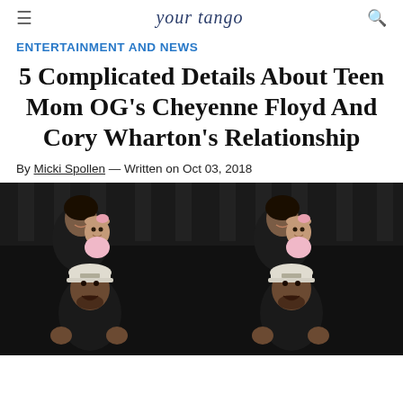your tango
ENTERTAINMENT AND NEWS
5 Complicated Details About Teen Mom OG's Cheyenne Floyd And Cory Wharton's Relationship
By Micki Spollen — Written on Oct 03, 2018
[Figure (photo): Photo of a woman holding a baby in pink and a man wearing a white cap, shown twice side by side in a dark background setting]